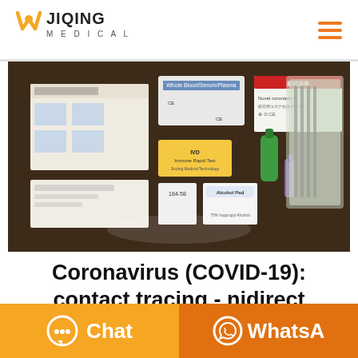[Figure (logo): Jiqing Medical logo with orange W icon and text JIQING MEDICAL]
[Figure (photo): COVID-19 test kit components laid out on dark wood surface including test cassette, reagent bottle, alcohol pad, nasal swab, and instruction booklet]
Coronavirus (COVID-19): contact tracing - nidirect
[Figure (infographic): Orange Chat button with speech bubble icon on left, and orange WhatsApp button with WhatsApp icon on right]